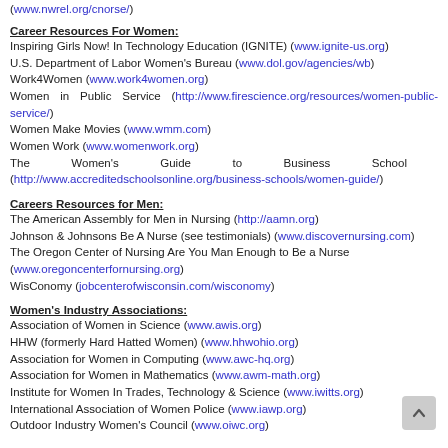(www.nwrel.org/cnorse/)
Career Resources For Women:
Inspiring Girls Now! In Technology Education (IGNITE) (www.ignite-us.org)
U.S. Department of Labor Women's Bureau (www.dol.gov/agencies/wb)
Work4Women (www.work4women.org)
Women in Public Service (http://www.firescience.org/resources/women-public-service/)
Women Make Movies (www.wmm.com)
Women Work (www.womenwork.org)
The Women's Guide to Business School (http://www.accreditedschoolsonline.org/business-schools/women-guide/)
Careers Resources for Men:
The American Assembly for Men in Nursing (http://aamn.org)
Johnson & Johnsons Be A Nurse (see testimonials) (www.discovernursing.com)
The Oregon Center of Nursing Are You Man Enough to Be a Nurse (www.oregoncenterfornursing.org)
WisConomy (jobcenterofwisconsin.com/wisconomy)
Women's Industry Associations:
Association of Women in Science (www.awis.org)
HHW (formerly Hard Hatted Women) (www.hhwohio.org)
Association for Women in Computing (www.awc-hq.org)
Association for Women in Mathematics (www.awm-math.org)
Institute for Women In Trades, Technology & Science (www.iwitts.org)
International Association of Women Police (www.iawp.org)
Outdoor Industry Women's Council (www.oiwc.org)